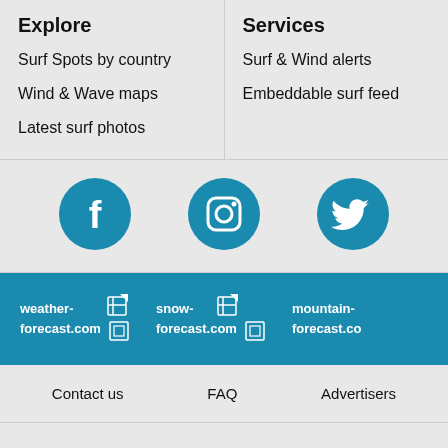Explore
Surf Spots by country
Wind & Wave maps
Latest surf photos
Services
Surf & Wind alerts
Embeddable surf feed
[Figure (logo): Facebook social media icon - teal circle with white F]
[Figure (logo): Instagram social media icon - teal circle with white Instagram camera logo]
[Figure (logo): Twitter social media icon - teal circle with white bird logo]
[Figure (logo): weather-forecast.com logo in white on teal background]
[Figure (logo): snow-forecast.com logo in white on teal background]
[Figure (logo): mountain-forecast.com logo (partial) in white on teal background]
Contact us   FAQ   Advertisers